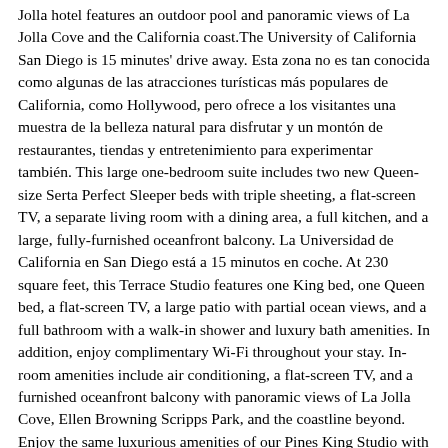Jolla hotel features an outdoor pool and panoramic views of La Jolla Cove and the California coast.The University of California San Diego is 15 minutes' drive away. Esta zona no es tan conocida como algunas de las atracciones turísticas más populares de California, como Hollywood, pero ofrece a los visitantes una muestra de la belleza natural para disfrutar y un montón de restaurantes, tiendas y entretenimiento para experimentar también. This large one-bedroom suite includes two new Queen-size Serta Perfect Sleeper beds with triple sheeting, a flat-screen TV, a separate living room with a dining area, a full kitchen, and a large, fully-furnished oceanfront balcony. La Universidad de California en San Diego está a 15 minutos en coche. At 230 square feet, this Terrace Studio features one King bed, one Queen bed, a flat-screen TV, a large patio with partial ocean views, and a full bathroom with a walk-in shower and luxury bath amenities. In addition, enjoy complimentary Wi-Fi throughout your stay. In-room amenities include air conditioning, a flat-screen TV, and a furnished oceanfront balcony with panoramic views of La Jolla Cove, Ellen Browning Scripps Park, and the coastline beyond. Enjoy the same luxurious amenities of our Pines King Studio with additional ADA features, including a spacious, private bathroom with a roll-in shower, to make your stay as relaxing and stress-free as possible. Na Booking.com-u vas očekuju 1253 recenzije i 45 fotografija. Now $129 (Was $332) on Tripadvisor: La Jolla Cove Hotel & Suites, La Jolla. Los huéspedes destacan la cercanía con la playa. This 165 square-foot economy guest room features a plush